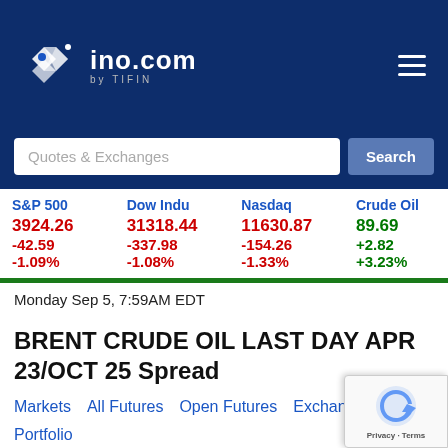ino.com by TIFIN
| S&P 500 | Dow Indu | Nasdaq | Crude Oil |
| --- | --- | --- | --- |
| 3924.26 | 31318.44 | 11630.87 | 89.69 |
| -42.59 | -337.98 | -154.26 | +2.82 |
| -1.09% | -1.08% | -1.33% | +3.23% |
Monday Sep 5, 7:59AM EDT
BRENT CRUDE OIL LAST DAY APR 23/OCT 25 Spread
Markets
All Futures
Open Futures
Exchange ...
Portfolio